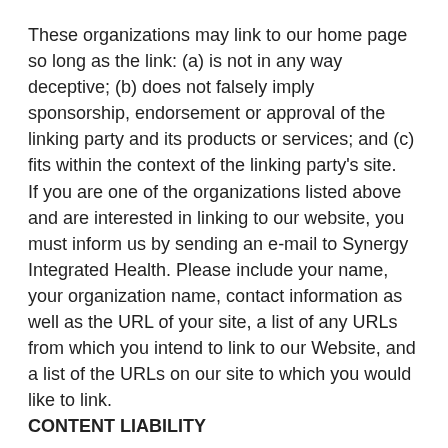These organizations may link to our home page so long as the link: (a) is not in any way deceptive; (b) does not falsely imply sponsorship, endorsement or approval of the linking party and its products or services; and (c) fits within the context of the linking party's site.
If you are one of the organizations listed above and are interested in linking to our website, you must inform us by sending an e-mail to Synergy Integrated Health. Please include your name, your organization name, contact information as well as the URL of your site, a list of any URLs from which you intend to link to our Website, and a list of the URLs on our site to which you would like to link.
CONTENT LIABILITY
We shall not be held responsible for any content that appears on your Website. You agree to protect and defend us against all claims that are rising on your Website. No link(s) should appear on any Website that may be